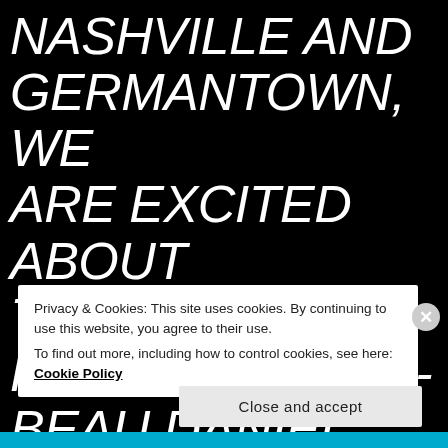NASHVILLE AND GERMANTOWN, WE ARE EXCITED ABOUT THE POSSIBILITIES." - BEAU DANIEL, DEVELOPMENT
Privacy & Cookies: This site uses cookies. By continuing to use this website, you agree to their use.
To find out more, including how to control cookies, see here: Cookie Policy
Close and accept